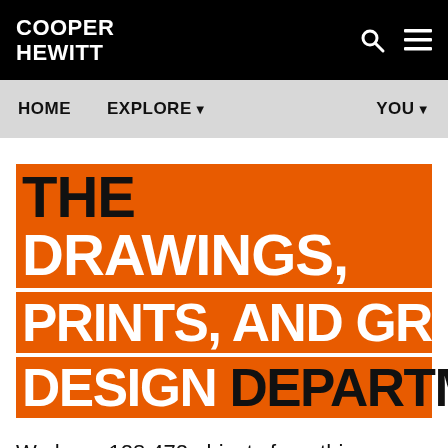COOPER HEWITT
THE DRAWINGS, PRINTS, AND GRAPHIC DESIGN DEPARTMENT
We have 128,472 objects from this department and this is page 7 of 3,671